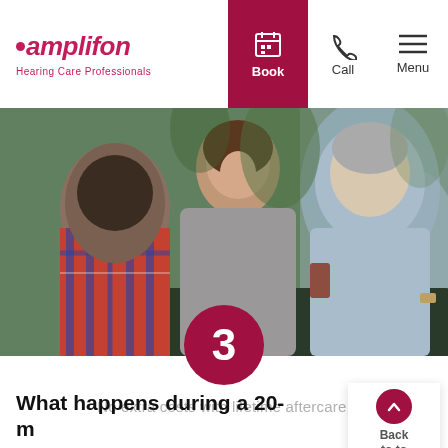amplifon — Hearing Care Professionals | Book | Call | Menu
[Figure (photo): Three people (a teenager with plaid shirt seen from behind, a smiling middle-aged woman in grey sweater, and an older man in light blue shirt) seated at a restaurant table, in a warm social setting with plants and blurred background.]
3
No extra costs with lifetime aftercare.
What happens during a 20-minute hearing test?
Back to to